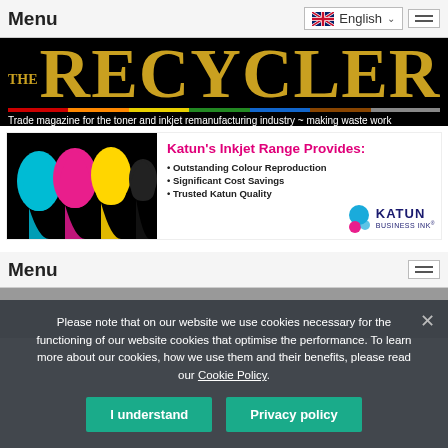Menu
[Figure (logo): THE RECYCLER logo in gold on black background. Trade magazine for the toner and inkjet remanufacturing industry ~ making waste work]
[Figure (infographic): Katun Business Ink advertisement: Katun's Inkjet Range Provides: Outstanding Colour Reproduction, Significant Cost Savings, Trusted Katun Quality. KATUN BUSINESS INK logo with ink drops.]
Menu
Please note that on our website we use cookies necessary for the functioning of our website cookies that optimise the performance. To learn more about our cookies, how we use them and their benefits, please read our Cookie Policy.
I understand
Privacy policy